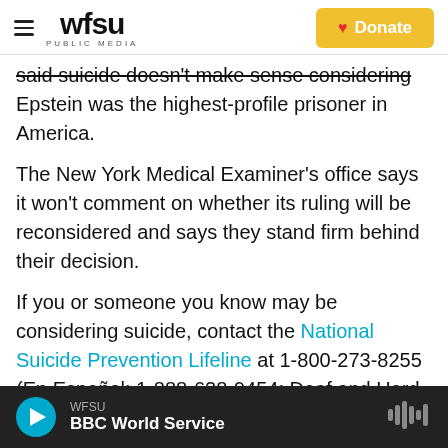WFSU PUBLIC MEDIA | Donate
said suicide doesn't make sense considering Epstein was the highest-profile prisoner in America.
The New York Medical Examiner's office says it won't comment on whether its ruling will be reconsidered and says they stand firm behind their decision.
If you or someone you know may be considering suicide, contact the National Suicide Prevention Lifeline at 1-800-273-8255 (En Español: 1-888-628-9454; Deaf and Hard of Hearing: 1-800-799-4889) or the Crisis Text Line by texting HOME to 741741
WFSU | BBC World Service